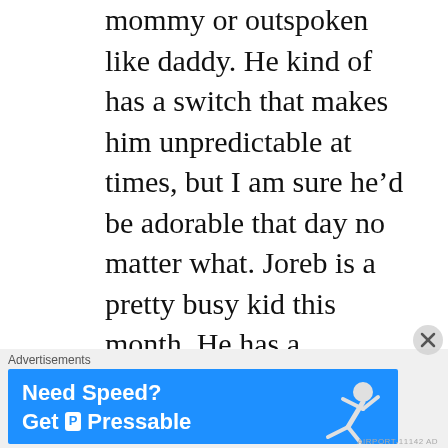mommy or outspoken like daddy. He kind of has a switch that makes him unpredictable at times, but I am sure he'd be adorable that day no matter what. Joreb is a pretty busy kid this month. He has a Halloween party to go to on the 30th. I don't know if he would end up wearing his Captain America costume or his Harry Potter one. If he comes as Captain America, he would go without the mask. I'd put a bandage around his head, complete with fake blood. He'd probably use fake fangs, too. Captain America-as-
[Figure (infographic): Advertisement banner: 'Need Speed? Get Pressable' on a blue background with a flying person graphic]